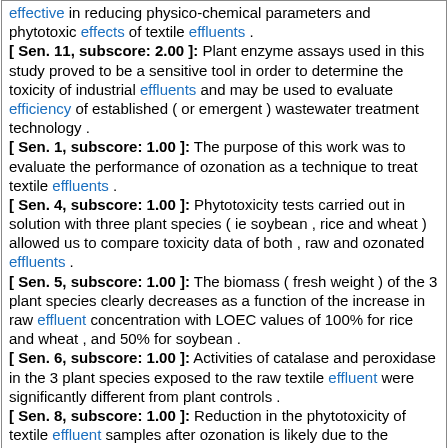effective in reducing physico-chemical parameters and phytotoxic effects of textile effluents . [ Sen. 11, subscore: 2.00 ]: Plant enzyme assays used in this study proved to be a sensitive tool in order to determine the toxicity of industrial effluents and may be used to evaluate efficiency of established ( or emergent ) wastewater treatment technology . [ Sen. 1, subscore: 1.00 ]: The purpose of this work was to evaluate the performance of ozonation as a technique to treat textile effluents . [ Sen. 4, subscore: 1.00 ]: Phytotoxicity tests carried out in solution with three plant species ( ie soybean , rice and wheat ) allowed us to compare toxicity data of both , raw and ozonated effluents . [ Sen. 5, subscore: 1.00 ]: The biomass ( fresh weight ) of the 3 plant species clearly decreases as a function of the increase in raw effluent concentration with LOEC values of 100% for rice and wheat , and 50% for soybean . [ Sen. 6, subscore: 1.00 ]: Activities of catalase and peroxidase in the 3 plant species exposed to the raw textile effluent were significantly different from plant controls . [ Sen. 8, subscore: 1.00 ]: Reduction in the phytotoxicity of textile effluent samples after ozonation is likely due to the elimination of the toxic organic fraction oxidized during this process .
Score: 10.00
Journal: Plant Physiol . Type: ARTICLE
Literature: oryza Field: abstract Doc ID: pub14605228
Matching Sentences:
[ Sen. 7, subscore: 2.00 ]: That same effect could be achieved by a 33% increase in external root efficiency .
[ Sen. 8, subscore: 2.00 ]: However , the direct effect of increasing